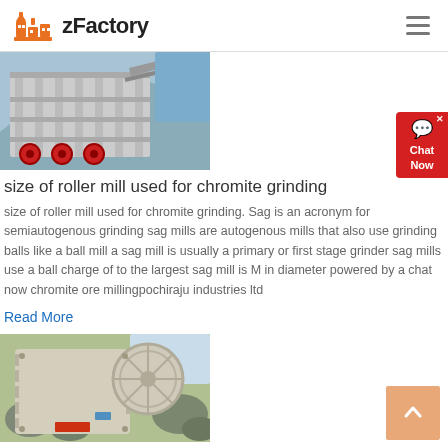zFactory
[Figure (photo): Industrial facility with large machinery, conveyor systems and red wheel-shaped components]
size of roller mill used for chromite grinding
size of roller mill used for chromite grinding. Sag is an acronym for semiautogenous grinding sag mills are autogenous mills that also use grinding balls like a ball mill a sag mill is usually a primary or first stage grinder sag mills use a ball charge of to the largest sag mill is M in diameter powered by a chat now chromite ore millingpochiraju industries ltd
Read More
[Figure (photo): Large industrial jaw crusher machine, beige/grey colored with circular flywheel, rocks in background]